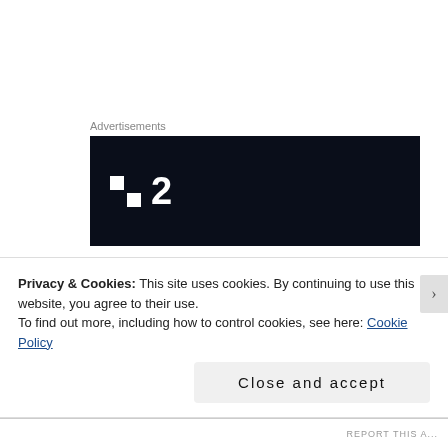Advertisements
[Figure (logo): Advertisement banner: dark navy background with a grid logo (two white squares top-left, two dark squares) followed by the number 2 in white, resembling a TV channel logo (Channel 2 or similar).]
But Johnson isn't only privileged he's also ignorant. In a society rife with information he's still managed to ignore the lessons that feminism tries to impart. Combine that ignorance with a lack of empathy— the ability to imagine
Privacy & Cookies: This site uses cookies. By continuing to use this website, you agree to their use.
To find out more, including how to control cookies, see here: Cookie Policy
Close and accept